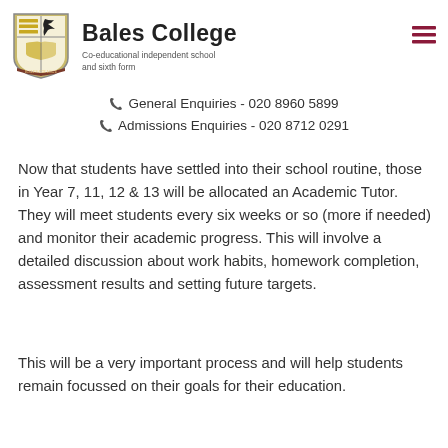Bales College — Co-educational independent school and sixth form
General Enquiries - 020 8960 5899
Admissions Enquiries - 020 8712 0291
Now that students have settled into their school routine, those in Year 7, 11, 12 & 13 will be allocated an Academic Tutor. They will meet students every six weeks or so (more if needed) and monitor their academic progress. This will involve a detailed discussion about work habits, homework completion, assessment results and setting future targets.
This will be a very important process and will help students remain focussed on their goals for their education.